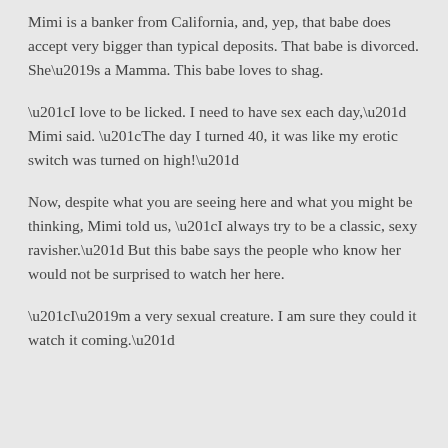Mimi is a banker from California, and, yep, that babe does accept very bigger than typical deposits. That babe is divorced. She’s a Mamma. This babe loves to shag.
“I love to be licked. I need to have sex each day,” Mimi said. “The day I turned 40, it was like my erotic switch was turned on high!”
Now, despite what you are seeing here and what you might be thinking, Mimi told us, “I always try to be a classic, sexy ravisher.” But this babe says the people who know her would not be surprised to watch her here.
“I’m a very sexual creature. I am sure they could it watch it coming.”